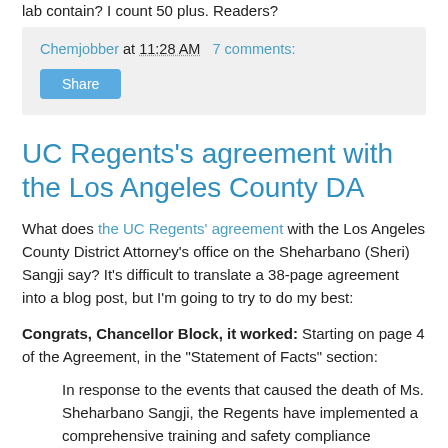lab contain? I count 50 plus. Readers?
Chemjobber at 11:28 AM   7 comments:
Share
UC Regents's agreement with the Los Angeles County DA
What does the UC Regents' agreement with the Los Angeles County District Attorney's office on the Sheharbano (Sheri) Sangji say? It's difficult to translate a 38-page agreement into a blog post, but I'm going to try to do my best:
Congrats, Chancellor Block, it worked: Starting on page 4 of the Agreement, in the "Statement of Facts" section:
In response to the events that caused the death of Ms. Sheharbano Sangji, the Regents have implemented a comprehensive training and safety compliance program at UCLA. Among